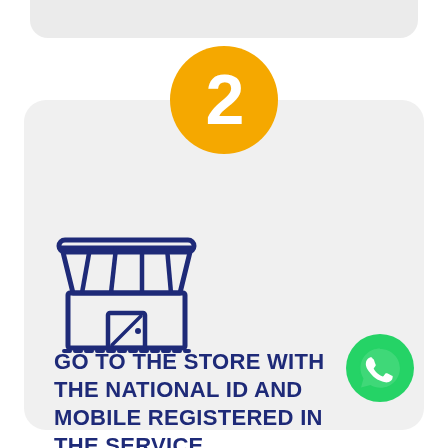[Figure (illustration): Orange circle badge with white number 2 inside]
[Figure (illustration): Store/shop icon in dark navy blue outline style showing a market stall with awning stripes and display window]
[Figure (illustration): WhatsApp green circle icon with white phone handset]
GO TO THE STORE WITH THE NATIONAL ID AND MOBILE REGISTERED IN THE SERVICE